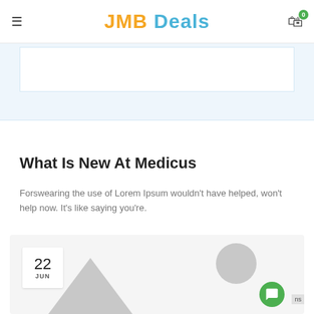JMB Deals
What Is New At Medicus
Forswearing the use of Lorem Ipsum wouldn't have helped, won't help now. It's like saying you're.
[Figure (other): Blog post card with date badge showing 22 JUN, mountain/triangle graphic, gray avatar circle, and green chat button]